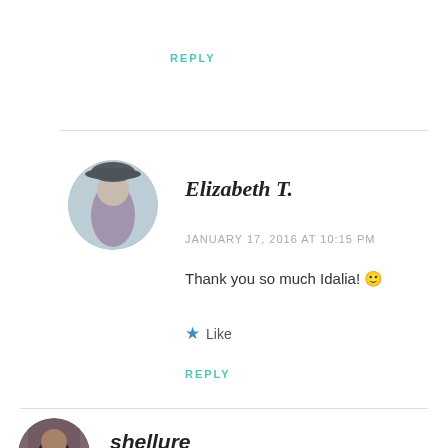REPLY
[Figure (photo): Circular avatar of Elizabeth T., a woman in a purple dress and black hat]
Elizabeth T.
JANUARY 17, 2016 AT 10:15 PM
Thank you so much Idalia! 🙂
★ Like
REPLY
[Figure (photo): Circular avatar of shellure, a woman in a black outfit against a brick wall]
shellure